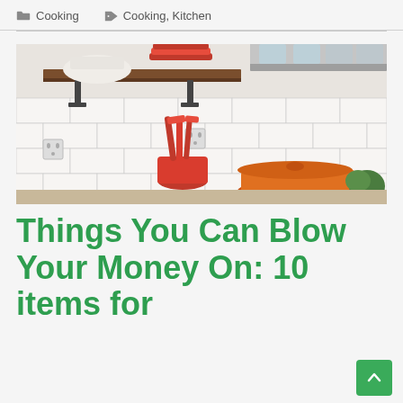Cooking   Cooking, Kitchen
[Figure (photo): Kitchen with open wooden shelves holding red plates and jars, red utensils in a red container, orange dutch oven on the counter, white subway tile backsplash]
Things You Can Blow Your Money On: 10 items for